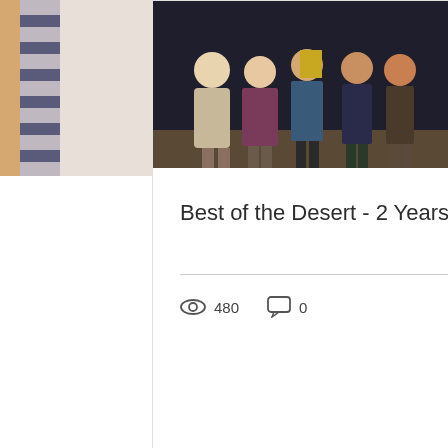[Figure (photo): Group of people standing in front of a branded backdrop, receiving an award]
Best of the Desert - 2 Years Running!
480 views, 0 comments
[Figure (photo): Bottom section with dark gray left panel and dark red right panel showing CALL US and Request contact information]
CALL US
.78
0.45
Request
How can w
Click Here